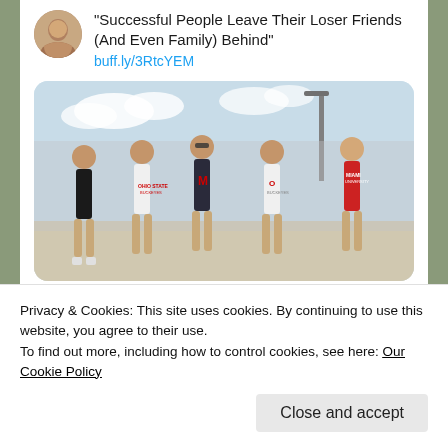“Successful People Leave Their Loser Friends (And Even Family) Behind” buff.ly/3RtcYEM
[Figure (photo): Five young men in college t-shirts walking together outdoors]
Mark Brewer @brewerma  Sep 1
Privacy & Cookies: This site uses cookies. By continuing to use this website, you agree to their use.
To find out more, including how to control cookies, see here: Our Cookie Policy
Close and accept